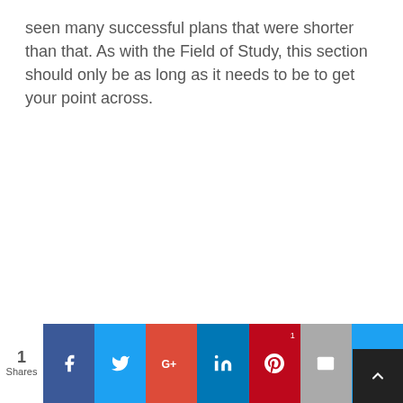seen many successful plans that were shorter than that. As with the Field of Study, this section should only be as long as it needs to be to get your point across.
1 Shares | Facebook | Twitter | Google+ | LinkedIn | Pinterest | Email | Crown